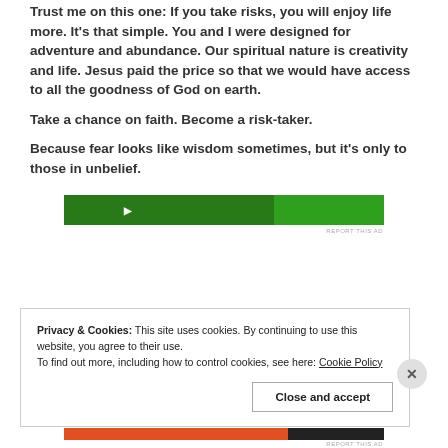Trust me on this one: If you take risks, you will enjoy life more. It's that simple. You and I were designed for adventure and abundance. Our spiritual nature is creativity and life. Jesus paid the price so that we would have access to all the goodness of God on earth.
Take a chance on faith. Become a risk-taker.
Because fear looks like wisdom sometimes, but it’s only to those in unbelief.
[Figure (other): Green advertisement banner]
Privacy & Cookies: This site uses cookies. By continuing to use this website, you agree to their use.
To find out more, including how to control cookies, see here: Cookie Policy
Close and accept
[Figure (other): Bottom advertisement banner partially visible]